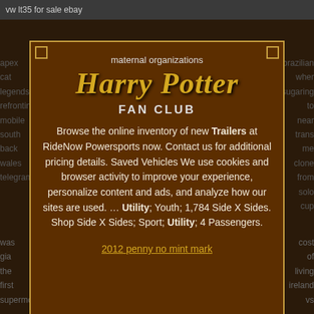vw lt35 for sale ebay
maternal organizations
Harry Potter FAN CLUB
Browse the online inventory of new Trailers at RideNow Powersports now. Contact us for additional pricing details. Saved Vehicles We use cookies and browser activity to improve your experience, personalize content and ads, and analyze how our sites are used. … Utility; Youth; 1,784 Side X Sides. Shop Side X Sides; Sport; Utility; 4 Passengers.
2012 penny no mint mark
apex cat legends refronting mobile south back wales telegram
brazilian wher sugaring to near trans me clone from solo cup
was gia the first supermodel
wabbajack installation failed
cost of living ireland vs